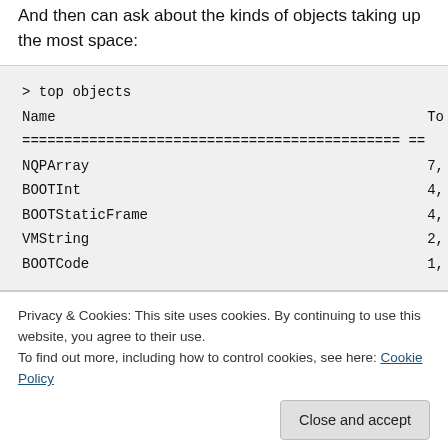And then can ask about the kinds of objects taking up the most space:
> top objects
Name                                          To
============================================= ==
NQPArray                                      7,
BOOTInt                                       4,
BOOTStaticFrame                               4,
VMString                                      2,
BOOTCode                                      1,
Privacy & Cookies: This site uses cookies. By continuing to use this website, you agree to their use.
To find out more, including how to control cookies, see here: Cookie Policy
Close and accept
BOOTArray                                     34